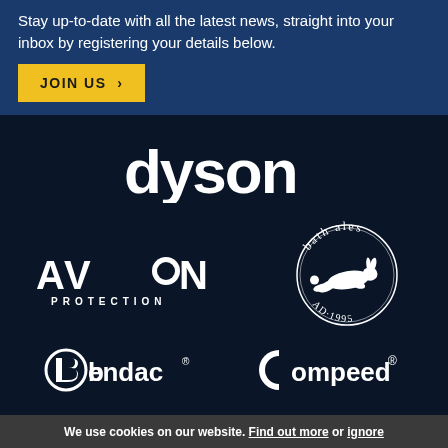Stay up-to-date with all the latest news, straight into your inbox by registering your details below.
[Figure (other): Yellow 'JOIN US >' button on blue background]
[Figure (logo): Dyson logo in white on dark navy background]
[Figure (logo): Avon Protection logo in white on dark navy background]
[Figure (logo): Bath Ales logo with rabbit illustration, AD 1995, on dark navy background]
[Figure (logo): Bendac logo in white on dark navy background]
[Figure (logo): Compeed logo with registered trademark symbol in white on dark navy background]
We use cookies on our website. Find out more or ignore